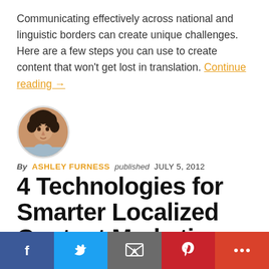Communicating effectively across national and linguistic borders can create unique challenges. Here are a few steps you can use to create content that won't get lost in translation. Continue reading →
[Figure (photo): Circular headshot photo of Ashley Furness, a woman with curly dark hair]
By ASHLEY FURNESS published JULY 5, 2012
4 Technologies for Smarter Localized Content Marketing
Localized messaging can be one of the best strategies for
[Figure (infographic): Social media share bar with Facebook, Twitter, Email, Pinterest, and More buttons]